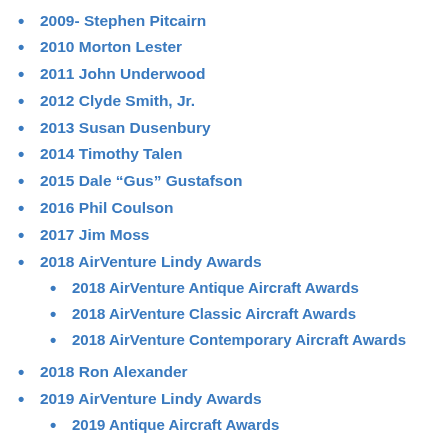2009- Stephen Pitcairn
2010 Morton Lester
2011 John Underwood
2012 Clyde Smith, Jr.
2013 Susan Dusenbury
2014 Timothy Talen
2015 Dale “Gus” Gustafson
2016 Phil Coulson
2017 Jim Moss
2018 AirVenture Lindy Awards
2018 AirVenture Antique Aircraft Awards
2018 AirVenture Classic Aircraft Awards
2018 AirVenture Contemporary Aircraft Awards
2018 Ron Alexander
2019 AirVenture Lindy Awards
2019 Antique Aircraft Awards